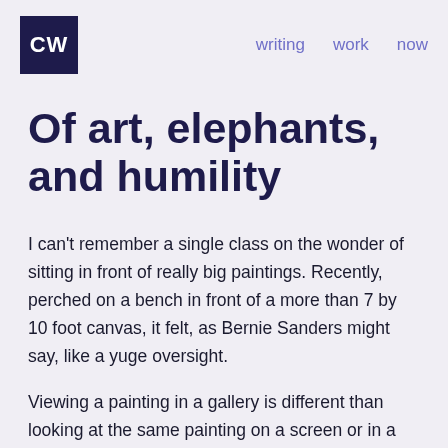CW  writing  work  now
Of art, elephants, and humility
I can't remember a single class on the wonder of sitting in front of really big paintings. Recently, perched on a bench in front of a more than 7 by 10 foot canvas, it felt, as Bernie Sanders might say, like a yuge oversight.
Viewing a painting in a gallery is different than looking at the same painting on a screen or in a book. (Duh, you might say.) I do not mean to imply that one experience is